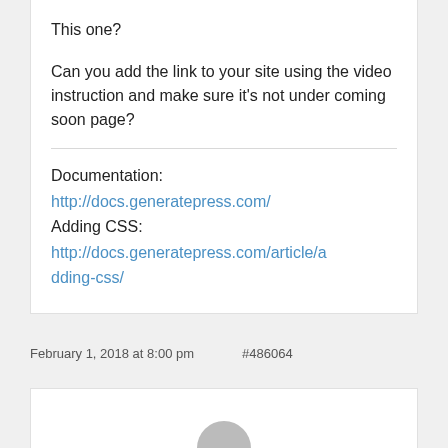This one?
Can you add the link to your site using the video instruction and make sure it’s not under coming soon page?
Documentation:
http://docs.generatepress.com/
Adding CSS:
http://docs.generatepress.com/article/adding-css/
February 1, 2018 at 8:00 pm   #486064